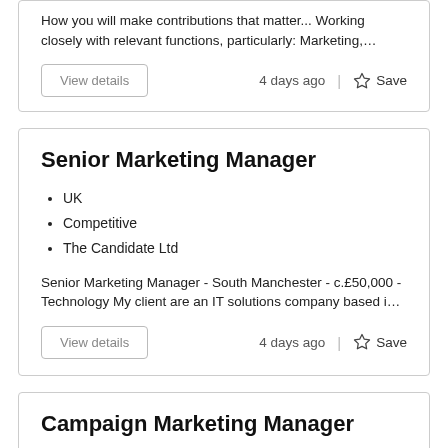How you will make contributions that matter... Working closely with relevant functions, particularly: Marketing,…
4 days ago
Save
Senior Marketing Manager
UK
Competitive
The Candidate Ltd
Senior Marketing Manager - South Manchester - c.£50,000 - Technology My client are an IT solutions company based i…
4 days ago
Save
Campaign Marketing Manager